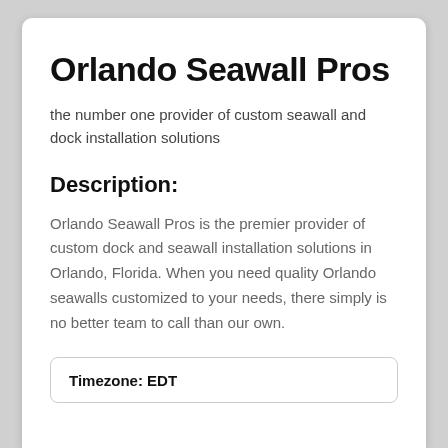Orlando Seawall Pros
the number one provider of custom seawall and dock installation solutions
Description:
Orlando Seawall Pros is the premier provider of custom dock and seawall installation solutions in Orlando, Florida. When you need quality Orlando seawalls customized to your needs, there simply is no better team to call than our own.
Timezone: EDT